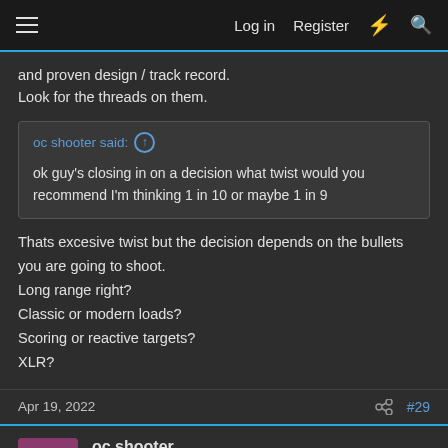Log in  Register
and proven design / track record.
Look for the threads on them.
oc shooter said: ↑

ok guy's closing in on a decision what twist would you recommend I'm thinking 1 in 10 or maybe 1 in 9
Thats excesive twist but the decision depends on the bullets you are going to shoot.
Long range right?
Classic or modern loads?
Scoring or reactive targets?
XLR?
Apr 19, 2022  #29
oc shooter
.223 Rem